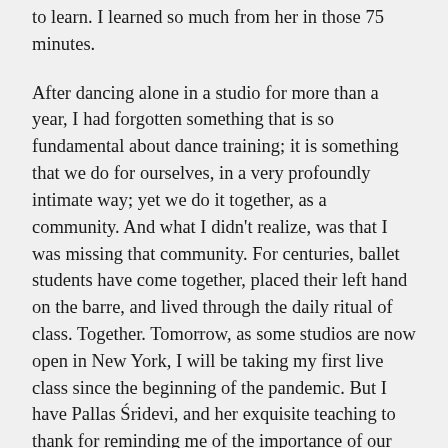to learn. I learned so much from her in those 75 minutes.
After dancing alone in a studio for more than a year, I had forgotten something that is so fundamental about dance training; it is something that we do for ourselves, in a very profoundly intimate way; yet we do it together, as a community. And what I didn’t realize, was that I was missing that community. For centuries, ballet students have come together, placed their left hand on the barre, and lived through the daily ritual of class. Together. Tomorrow, as some studios are now open in New York, I will be taking my first live class since the beginning of the pandemic. But I have Pallas śridevi, and her exquisite teaching to thank for reminding me of the importance of our community. I have Pallas to thank for opening her heart and reaching out across an ocean, to teach me this important lesson. I am honored and touched to have been so warmly welcomed into her